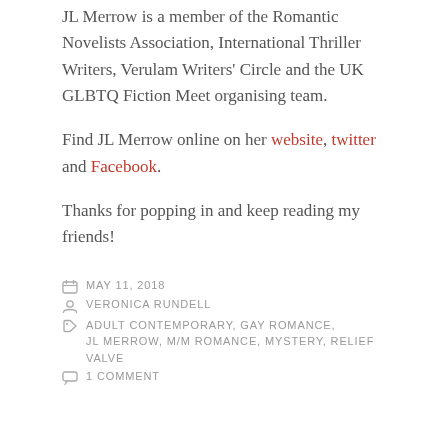JL Merrow is a member of the Romantic Novelists Association, International Thriller Writers, Verulam Writers' Circle and the UK GLBTQ Fiction Meet organising team.
Find JL Merrow online on her website, twitter and Facebook.
Thanks for popping in and keep reading my friends!
MAY 11, 2018
VERONICA RUNDELL
ADULT CONTEMPORARY, GAY ROMANCE, JL MERROW, M/M ROMANCE, MYSTERY, RELIEF VALVE
1 COMMENT